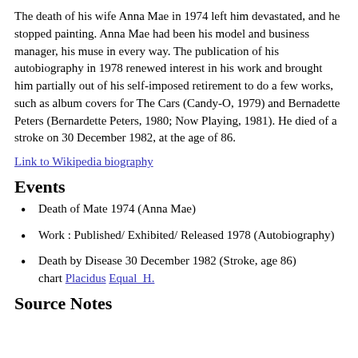The death of his wife Anna Mae in 1974 left him devastated, and he stopped painting. Anna Mae had been his model and business manager, his muse in every way. The publication of his autobiography in 1978 renewed interest in his work and brought him partially out of his self-imposed retirement to do a few works, such as album covers for The Cars (Candy-O, 1979) and Bernadette Peters (Bernardette Peters, 1980; Now Playing, 1981). He died of a stroke on 30 December 1982, at the age of 86.
Link to Wikipedia biography
Events
Death of Mate 1974 (Anna Mae)
Work : Published/ Exhibited/ Released 1978 (Autobiography)
Death by Disease 30 December 1982 (Stroke, age 86) chart Placidus Equal_H.
Source Notes